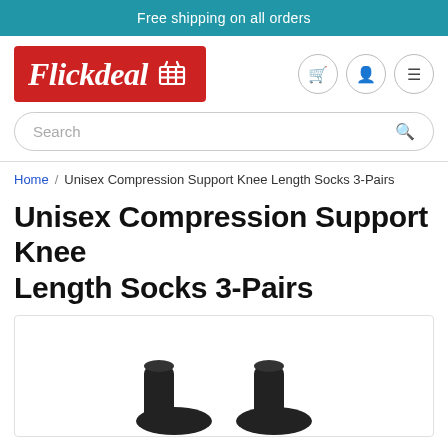Free shipping on all orders
[Figure (logo): Flickdeal logo — red rectangle with 'Flickdeal' in white italic script and a white shopping cart icon]
Search
Home / Unisex Compression Support Knee Length Socks 3-Pairs
Unisex Compression Support Knee Length Socks 3-Pairs
[Figure (photo): Product photo showing compression knee-length socks, partially visible at bottom of page]